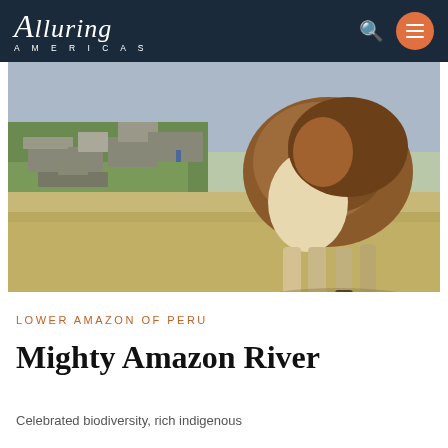Alluring Americas
[Figure (photo): A llama standing in the foreground with Machu Picchu ruins and green terraces visible in the background. The llama's brown and cream fur is prominent, photographed from the side showing its legs and body.]
LOWER AMAZON OF PERU
Mighty Amazon River
Celebrated biodiversity, rich indigenous...